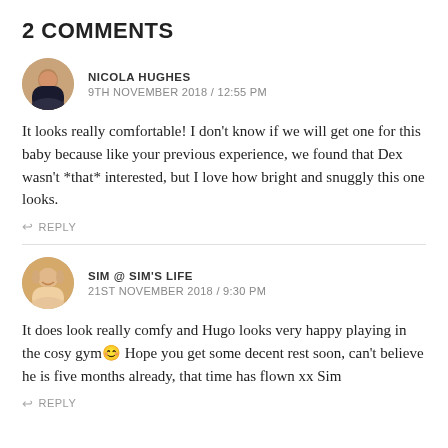2 COMMENTS
NICOLA HUGHES
9TH NOVEMBER 2018 / 12:55 PM
It looks really comfortable! I don't know if we will get one for this baby because like your previous experience, we found that Dex wasn't *that* interested, but I love how bright and snuggly this one looks.
↩ REPLY
SIM @ SIM'S LIFE
21ST NOVEMBER 2018 / 9:30 PM
It does look really comfy and Hugo looks very happy playing in the cosy gym🙂 Hope you get some decent rest soon, can't believe he is five months already, that time has flown xx Sim
↩ REPLY